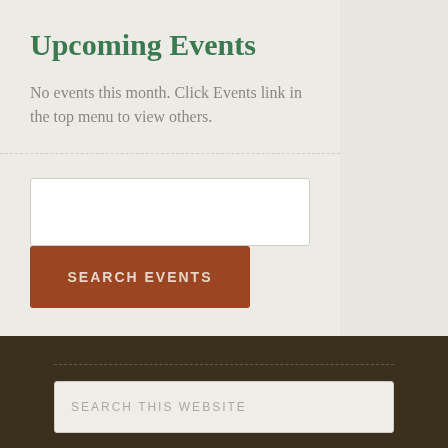Upcoming Events
No events this month. Click Events link in the top menu to view others.
[Figure (screenshot): Search events input box (empty white rectangle)]
[Figure (screenshot): SEARCH EVENTS button in brown/rust color]
[Figure (screenshot): SEARCH THIS WEBSITE input box at bottom]